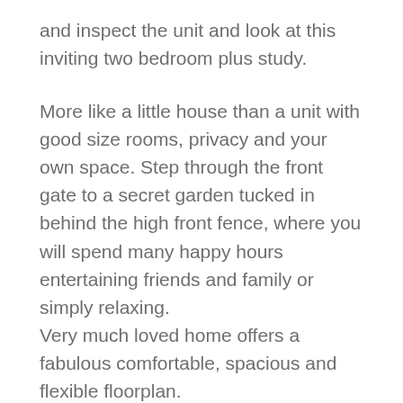and inspect the unit and look at this inviting two bedroom plus study.
More like a little house than a unit with good size rooms, privacy and your own space. Step through the front gate to a secret garden tucked in behind the high front fence, where you will spend many happy hours entertaining friends and family or simply relaxing.
Very much loved home offers a fabulous comfortable, spacious and flexible floorplan.
Enjoy garden views from the large open plan living dining and kitchen space and cook up a storm in the modern style kitchen with gorgeous